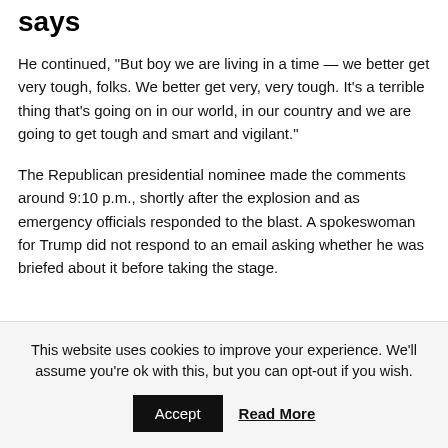says
He continued, “But boy we are living in a time — we better get very tough, folks. We better get very, very tough. It’s a terrible thing that’s going on in our world, in our country and we are going to get tough and smart and vigilant.”
The Republican presidential nominee made the comments around 9:10 p.m., shortly after the explosion and as emergency officials responded to the blast. A spokeswoman for Trump did not respond to an email asking whether he was briefed about it before taking the stage.
This website uses cookies to improve your experience. We’ll assume you’re ok with this, but you can opt-out if you wish. Accept Read More